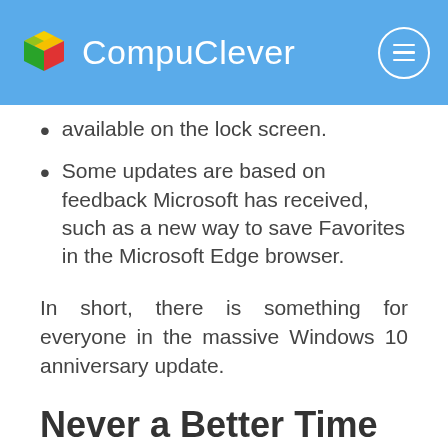CompuClever
available on the lock screen.
Some updates are based on feedback Microsoft has received, such as a new way to save Favorites in the Microsoft Edge browser.
In short, there is something for everyone in the massive Windows 10 anniversary update.
Never a Better Time to Upgrade to Windows 10?